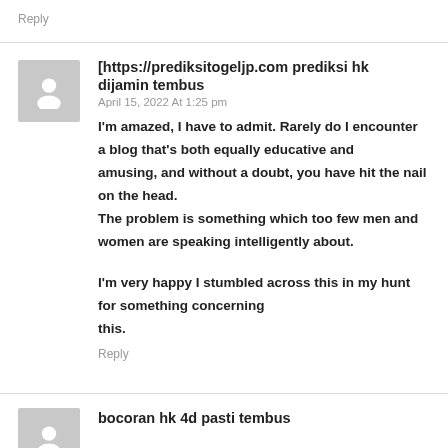Reply
[https://prediksitogeljp.com prediksi hk dijamin tembus
April 15, 2022 At 1:25 pm
I'm amazed, I have to admit. Rarely do I encounter a blog that's both equally educative and amusing, and without a doubt, you have hit the nail on the head. The problem is something which too few men and women are speaking intelligently about.

I'm very happy I stumbled across this in my hunt for something concerning this.
Reply
bocoran hk 4d pasti tembus